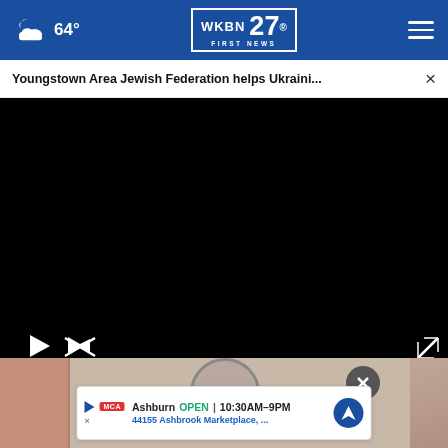WKBN First News 27 | 64° | Menu
Youngstown Area Jewish Federation helps Ukraini... ×
[Figure (screenshot): Black video player with play button, mute button, and fullscreen icon]
[Figure (photo): Photo partially visible with close button]
Ashburn OPEN | 10:30AM–9PM | 44155 Ashbrook Marketplace, ...